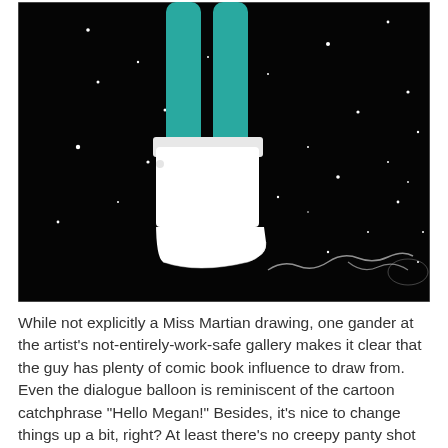[Figure (illustration): A dark, space-like black background with scattered white star-like dots. In the center-left area, teal/green-colored legs emerge from a white tall boot/shoe. A white dialogue balloon silhouette is partially visible at the bottom right. The image has a signature or scrawl at the bottom right.]
While not explicitly a Miss Martian drawing, one gander at the artist's not-entirely-work-safe gallery makes it clear that the guy has plenty of comic book influence to draw from. Even the dialogue balloon is reminiscent of the cartoon catchphrase "Hello Megan!" Besides, it's nice to change things up a bit, right? At least there's no creepy panty shot